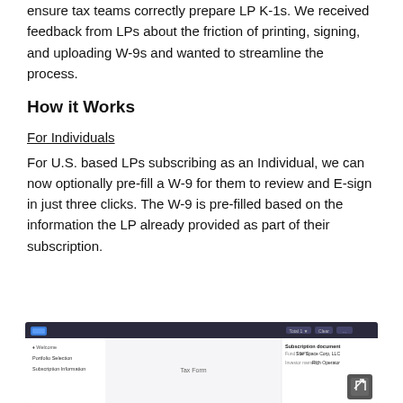ensure tax teams correctly prepare LP K-1s. We received feedback from LPs about the friction of printing, signing, and uploading W-9s and wanted to streamline the process.
How it Works
For Individuals
For U.S. based LPs subscribing as an Individual, we can now optionally pre-fill a W-9 for them to review and E-sign in just three clicks. The W-9 is pre-filled based on the information the LP already provided as part of their subscription.
[Figure (screenshot): A screenshot of a web application showing a subscription document interface with a dark top navigation bar, a left sidebar with items including Welcome, Portfolio Selection, and Subscription Information, a central area labeled Tax Form, and a right panel showing Subscription document details with fields for Fund/SPV showing Star Space Corp, LLC and Investor name showing Rich Operator.]